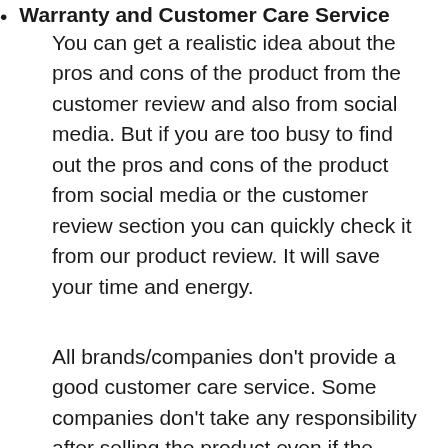You can get a realistic idea about the pros and cons of the product from the customer review and also from social media. But if you are too busy to find out the pros and cons of the product from social media or the customer review section you can quickly check it from our product review. It will save your time and energy.
Warranty and Customer Care Service
All brands/companies don't provide a good customer care service. Some companies don't take any responsibility after selling the product even if the warranty period is not ended. You may have to face a great hassle